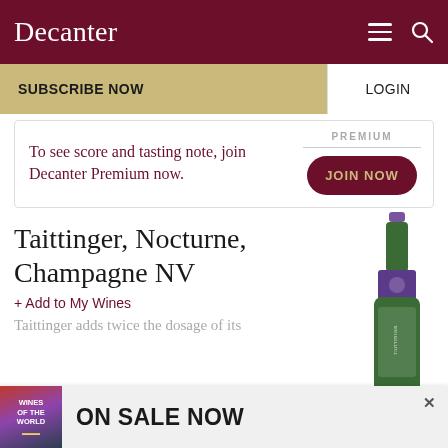Decanter
SUBSCRIBE NOW
LOGIN
To see score and tasting note, join Decanter Premium now.
PREMIUM
JOIN NOW
Taittinger, Nocturne, Champagne NV
+ Add to My Wines
Taittinger adds twice the dosage of its
[Figure (photo): Bottle of Taittinger Nocturne Champagne NV with dark purple/blue label]
WINES OF THE WORLD — ON SALE NOW